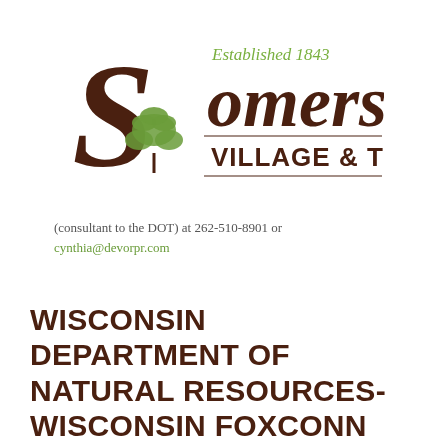[Figure (logo): Somers Village & Town logo with tree illustration, brown serif font, green 'Established 1843' text, and 'VILLAGE & TOWN' in brown caps with decorative lines]
(consultant to the DOT) at 262-510-8901 or cynthia@devorpr.com
WISCONSIN DEPARTMENT OF NATURAL RESOURCES- WISCONSIN FOXCONN